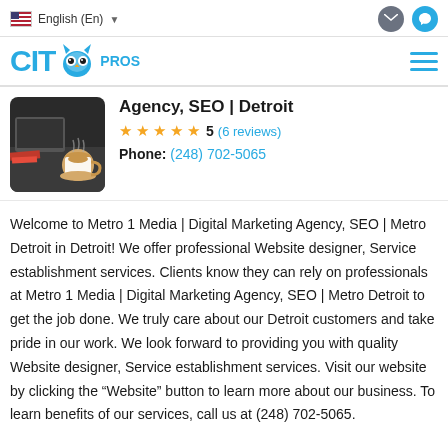English (En)
[Figure (logo): CityPros logo with owl icon in blue]
Agency, SEO | Detroit
★★★★★ 5  (6 reviews)
Phone: (248) 702-5065
[Figure (photo): Coffee cup on desk with laptop, top-down view]
Welcome to Metro 1 Media | Digital Marketing Agency, SEO | Metro Detroit in Detroit! We offer professional Website designer, Service establishment services. Clients know they can rely on professionals at Metro 1 Media | Digital Marketing Agency, SEO | Metro Detroit to get the job done. We truly care about our Detroit customers and take pride in our work. We look forward to providing you with quality Website designer, Service establishment services. Visit our website by clicking the “Website” button to learn more about our business. To learn benefits of our services, call us at (248) 702-5065.